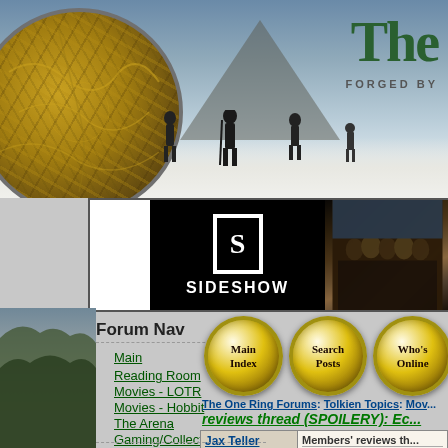[Figure (screenshot): TheOneRing.net website header with circular Middle-earth map, mountain/sky background with silhouetted figures, site title 'The' visible with 'FORGED BY' tagline, Sideshow advertisement banner, and Lord of the Rings group photo ad]
Forum Nav
Main
Reading Room
Movies - LOTR
Movies - Hobbit
The Arena
Gaming/Collecting
Fan Art
TORn Nav
Home
[Figure (screenshot): Three golden circular navigation buttons: Main Index, Search Posts, Who's Online (partially visible)]
The One Ring Forums: Tolkien Topics: Mov... reviews thread (SPOILERY): Ec...
| User | Post |
| --- | --- |
| Jax Teller
Rivendell | Members' reviews th...
I keep only seeing thr... |